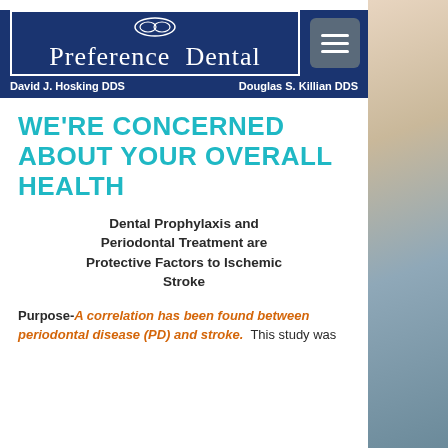[Figure (logo): Preference Dental logo with navy blue background, white text, oval icon, and names David J. Hosking DDS and Douglas S. Killian DDS]
WE'RE CONCERNED ABOUT YOUR OVERALL HEALTH
Dental Prophylaxis and Periodontal Treatment are Protective Factors to Ischemic Stroke
Purpose- A correlation has been found between periodontal disease (PD) and stroke. This study was